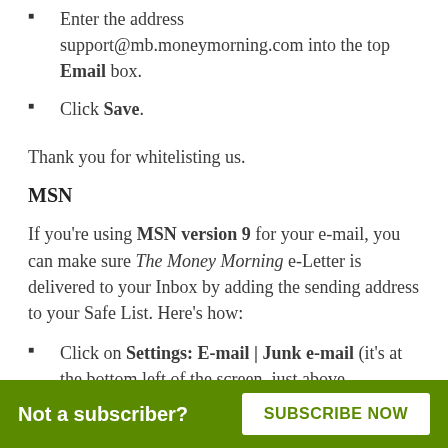Enter the address support@mb.moneymorning.com into the top Email box.
Click Save.
Thank you for whitelisting us.
MSN
If you're using MSN version 9 for your e-mail, you can make sure The Money Morning e-Letter is delivered to your Inbox by adding the sending address to your Safe List. Here's how:
Click on Settings: E-mail | Junk e-mail (it's at the bottom left of the screen, just above
Not a subscriber? SUBSCRIBE NOW